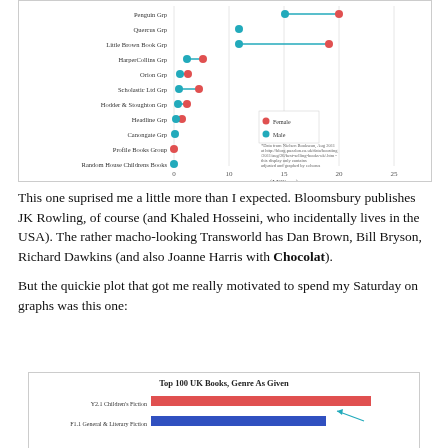[Figure (continuous-plot): Dot plot showing book publisher data by gender (Female=red, Male=teal). Publishers include Penguin Grp, Quercus Grp, Little Brown Book Grp, HarperCollins Grp, Orion Grp, Scholastic Ltd Grp, Hodder & Stoughton Grp, Headline Grp, Canongate Grp, Profile Books Group, Random House Childrens Books. X-axis in Millions.]
This one suprised me a little more than I expected. Bloomsbury publishes JK Rowling, of course (and Khaled Hosseini, who incidentally lives in the USA). The rather macho-looking Transworld has Dan Brown, Bill Bryson, Richard Dawkins (and also Joanne Harris with Chocolat).
But the quickie plot that got me really motivated to spend my Saturday on graphs was this one:
[Figure (bar-chart): Horizontal bar chart showing Top 100 UK Books by Genre As Given. Categories include Y2.1 Children's Fiction and F1.1 General & Literary Fiction. Bars shown in red and blue.]